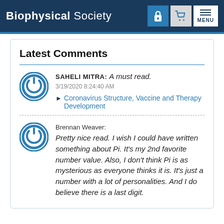Biophysical Society  MENU
Latest Comments
SAHELI MITRA: A must read.
3/19/2020 8:24:40 AM
▶ Coronavirus Structure, Vaccine and Therapy Development
Brennan Weaver: Pretty nice read. I wish I could have written something about Pi. It's my 2nd favorite number value. Also, I don't think Pi is as mysterious as everyone thinks it is. It's just a number with a lot of personalities. And I do believe there is a last digit.